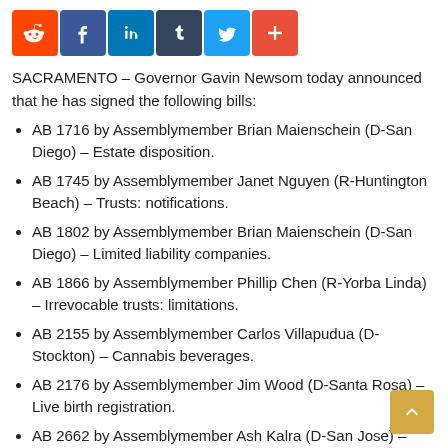[Figure (other): Social sharing buttons bar: Reddit (orange), Facebook (dark blue), LinkedIn (blue), Tumblr (dark blue-grey), Twitter (light blue), More/Plus (red-orange)]
SACRAMENTO – Governor Gavin Newsom today announced that he has signed the following bills:
AB 1716 by Assemblymember Brian Maienschein (D-San Diego) – Estate disposition.
AB 1745 by Assemblymember Janet Nguyen (R-Huntington Beach) – Trusts: notifications.
AB 1802 by Assemblymember Brian Maienschein (D-San Diego) – Limited liability companies.
AB 1866 by Assemblymember Phillip Chen (R-Yorba Linda) – Irrevocable trusts: limitations.
AB 2155 by Assemblymember Carlos Villapudua (D-Stockton) – Cannabis beverages.
AB 2176 by Assemblymember Jim Wood (D-Santa Rosa) – Live birth registration.
AB 2662 by Assemblymember Ash Kalra (D-San Jose) – Department of Fair Employment and Housing.